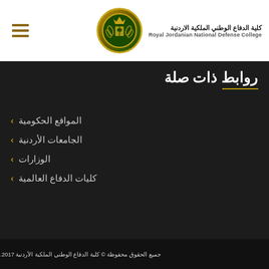[Figure (logo): Royal Jordanian National Defense College logo - circular emblem with crown and laurel wreath in gold and green]
كلية الدفاع الوطني الملكية الاردنية
Royal Jordanian National Defense College
روابط ذات صلة
المواقع الحكومية
الجامعات الأردنية
الوزارات
كليات الدفاع العالمية
جميع الحقوق محفوظة © كلية الدفاع الوطني الملكية الأردنية 2017.